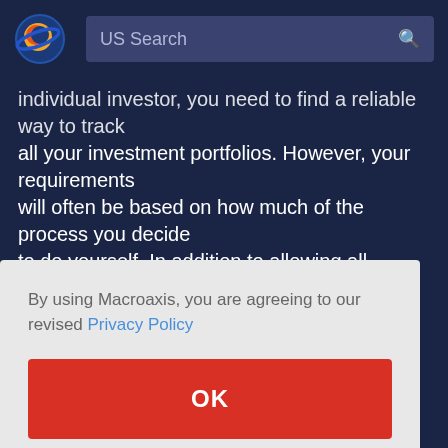US Search
individual investor, you need to find a reliable way to track all your investment portfolios. However, your requirements will often be based on how much of the process you decide to do yourself. In addition to allowing all investors analytical transparency into all their portfolios, our tools can evaluate risk-adjusted returns of your individual positions relative to
By using Macroaxis, you are agreeing to our revised Privacy Policy
OK
Find actively traded Exchange Traded